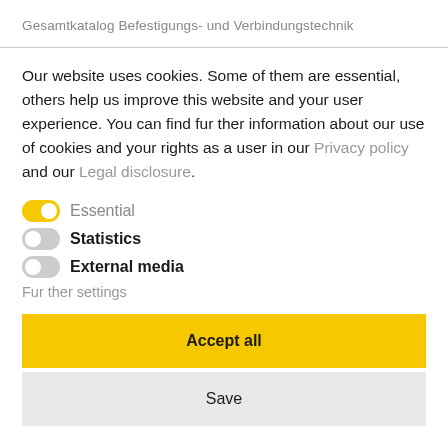Gesamtkatalog Befestigungs- und Verbindungstechnik
Our website uses cookies. Some of them are essential, others help us improve this website and your user experience. You can find further information about our use of cookies and your rights as a user in our Privacy policy and our Legal disclosure.
Essential (toggle on)
Statistics (toggle off)
External media (toggle off)
Further settings
Accept all
Save